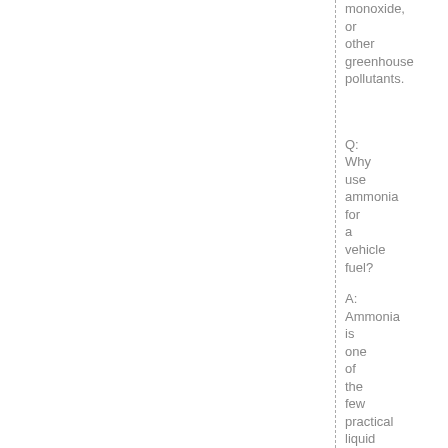monoxide, or other greenhouse pollutants.
Q: Why use ammonia for a vehicle fuel?
A: Ammonia is one of the few practical liquid high-energy density non-petroleum fuels that